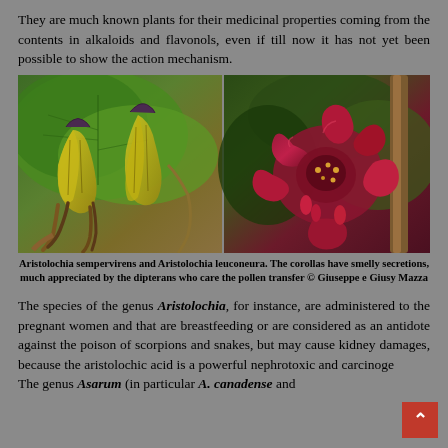They are much known plants for their medicinal properties coming from the contents in alkaloids and flavonols, even if till now it has not yet been possible to show the action mechanism.
[Figure (photo): Two plant photographs side by side: left shows Aristolochia sempervirens with yellow-green and brown flowers (pipe-shaped), right shows Aristolochia leuconeura with deep red/magenta curling flowers.]
Aristolochia sempervirens and Aristolochia leuconeura. The corollas have smelly secretions, much appreciated by the dipterans who care the pollen transfer © Giuseppe e Giusy Mazza
The species of the genus Aristolochia, for instance, are administered to the pregnant women and that are breastfeeding or are considered as an antidote against the poison of scorpions and snakes, but may cause kidney damages, because the aristolochic acid is a powerful nephrotoxic and carcinogen. The genus Asarum (in particular A. canadense and